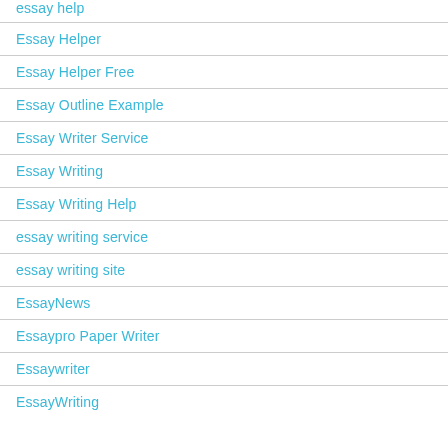essay help
Essay Helper
Essay Helper Free
Essay Outline Example
Essay Writer Service
Essay Writing
Essay Writing Help
essay writing service
essay writing site
EssayNews
Essaypro Paper Writer
Essaywriter
EssayWriting